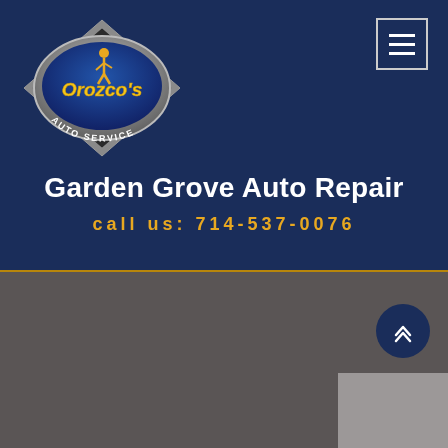[Figure (logo): Orozco's Auto Service logo — oval chrome badge with blue background, yellow text 'Orozco's', mechanic figure silhouette, 'AUTO SERVICE' text around the bottom]
Garden Grove Auto Repair
call us: 714-537-0076